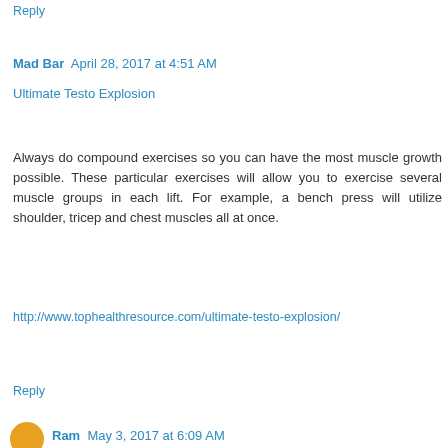Reply
Mad Bar  April 28, 2017 at 4:51 AM
Ultimate Testo Explosion
Always do compound exercises so you can have the most muscle growth possible. These particular exercises will allow you to exercise several muscle groups in each lift. For example, a bench press will utilize shoulder, tricep and chest muscles all at once.
http://www.tophealthresource.com/ultimate-testo-explosion/
Reply
Ram  May 3, 2017 at 6:09 AM